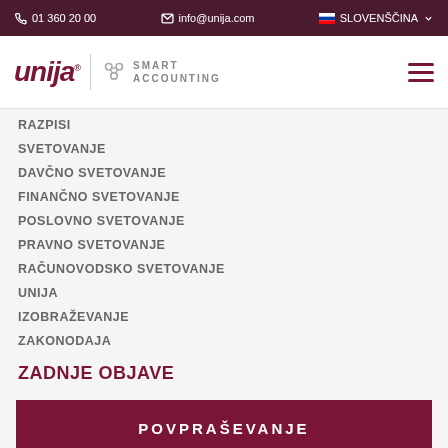01 360 20 00  info@unija.com  SLOVENŠČINA
[Figure (logo): Unija Smart Accounting logo with hamburger menu icon]
RAZPISI
SVETOVANJE
DAVČNO SVETOVANJE
FINANČNO SVETOVANJE
POSLOVNO SVETOVANJE
PRAVNO SVETOVANJE
RAČUNOVODSKO SVETOVANJE
UNIJA
IZOBRAŽEVANJE
ZAKONODAJA
ZADNJE OBJAVE
POVPRAŠEVANJE